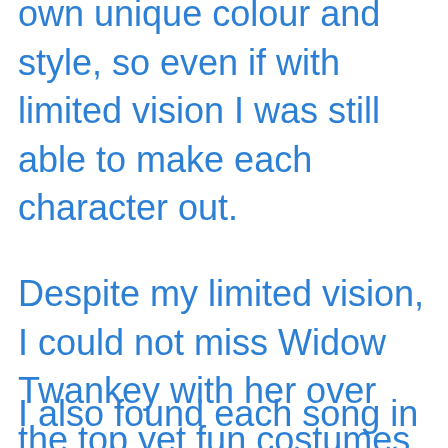own unique colour and style, so even if with limited vision I was still able to make each character out.
Despite my limited vision, I could not miss Widow Twankey with her over the top yet fun costumes and hairstyles.
I also found each song in the show recognisable and very easy to sing